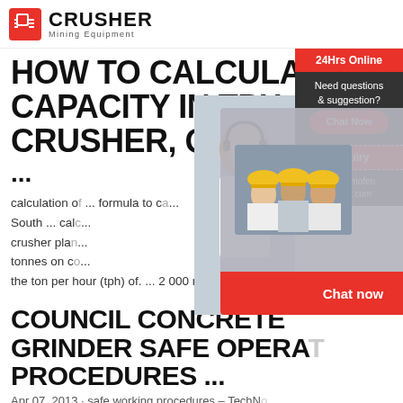CRUSHER Mining Equipment
HOW TO CALCULATE CAPACITY IN TPH - CRUSHER, QUARRY, MINING ...
calculation of ... formula to c... South ... cal... crusher pla... tonnes on c... the ton per hour (tph) of. ... 2 000 mm belt width
[Figure (photo): Live chat overlay with construction workers in yellow hard hats, LIVE CHAT heading in red italic, 'Click for a Free Consultation' text, Chat now and Chat later buttons. A woman wearing headset on the right side.]
COUNCIL CONCRETE GRINDER SAFE OPERA PROCEDURES ...
Apr 07, 2013 · safe working procedures – TechN...